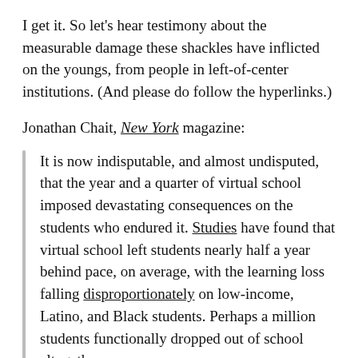I get it. So let's hear testimony about the measurable damage these shackles have inflicted on the youngs, from people in left-of-center institutions. (And please do follow the hyperlinks.)
Jonathan Chait, New York magazine:
It is now indisputable, and almost undisputed, that the year and a quarter of virtual school imposed devastating consequences on the students who endured it. Studies have found that virtual school left students nearly half a year behind pace, on average, with the learning loss falling disproportionately on low-income, Latino, and Black students. Perhaps a million students functionally dropped out of school altogether. The social isolation imposed on kids caused a mental health "state of emergency," according to the American Academy of Pediatrics. The damage to a generation of children's social development and educational